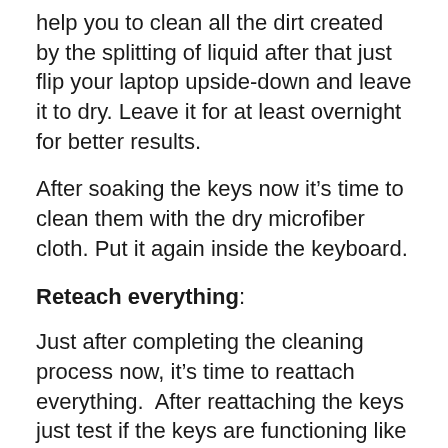help you to clean all the dirt created by the splitting of liquid after that just flip your laptop upside-down and leave it to dry. Leave it for at least overnight for better results.
After soaking the keys now it’s time to clean them with the dry microfiber cloth. Put it again inside the keyboard.
Reteach everything:
Just after completing the cleaning process now, it’s time to reattach everything.  After reattaching the keys just test if the keys are functioning like they were or not if there is still a sticky key then repeat the steps of cleaning the keys again.